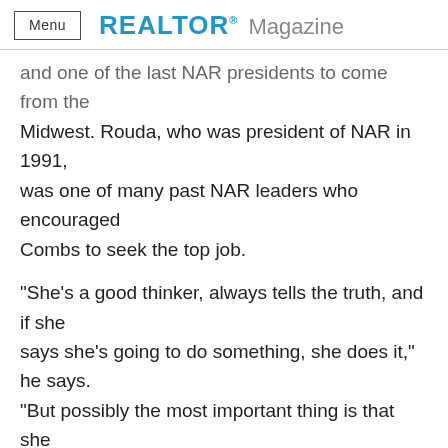Menu | REALTOR® Magazine
and one of the last NAR presidents to come from the Midwest. Rouda, who was president of NAR in 1991, was one of many past NAR leaders who encouraged Combs to seek the top job.
“She’s a good thinker, always tells the truth, and if she says she’s going to do something, she does it,” he says. "But possibly the most important thing is that she makes everyone feel happy when they’re around her.”
Combs has served NAR as national fundraising chair in 2003 and as regional vice president, Region VI, in 1997. She’s also headed the association’s Equal Opportunity, Education, and Public Policy committees. On a state level, Combs was president of the Michigan